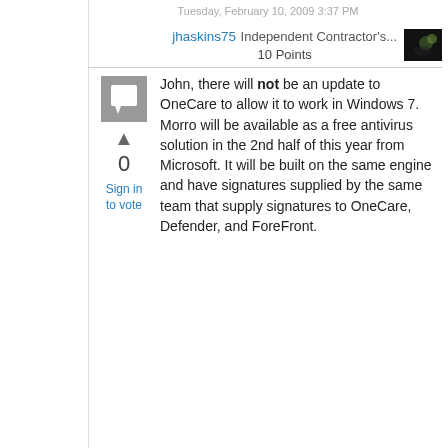Tuesday, February 10, 2009 3:37 PM
jhaskins75 Independent Contractor's...
10 Points
[Figure (other): Small dark avatar/profile image thumbnail]
[Figure (other): Comment icon - grey square with white chat bubble]
0
Sign in
to vote
John, there will not be an update to OneCare to allow it to work in Windows 7. Morro will be available as a free antivirus solution in the 2nd half of this year from Microsoft. It will be built on the same engine and have signatures supplied by the same team that supply signatures to OneCare, Defender, and ForeFront.